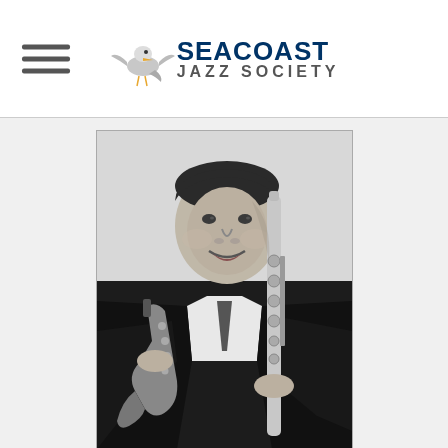Seacoast Jazz Society
[Figure (photo): Black and white portrait photo of a man in a dark suit holding a saxophone and a clarinet/flute, smiling at the camera. He holds wind instruments on both sides.]